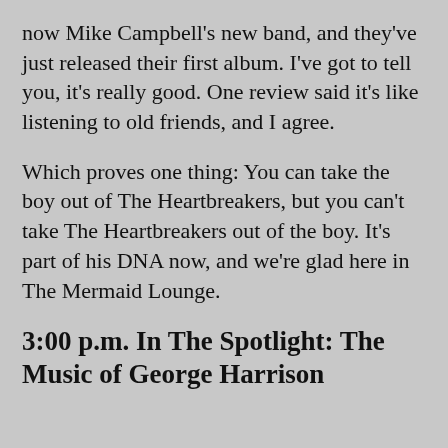now Mike Campbell's new band, and they've just released their first album. I've got to tell you, it's really good. One review said it's like listening to old friends, and I agree.
Which proves one thing: You can take the boy out of The Heartbreakers, but you can't take The Heartbreakers out of the boy. It's part of his DNA now, and we're glad here in The Mermaid Lounge.
3:00 p.m. In The Spotlight: The Music of George Harrison